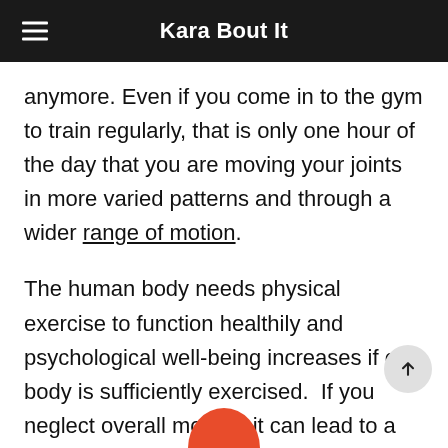Kara Bout It
anymore. Even if you come in to the gym to train regularly, that is only one hour of the day that you are moving your joints in more varied patterns and through a wider range of motion.
The human body needs physical exercise to function healthily and psychological well-being increases if our body is sufficiently exercised.  If you neglect overall mobility it can lead to a variety of issues including pain, injury and limited activity choices later in life. To help I've complied some simple mobility tips for you.